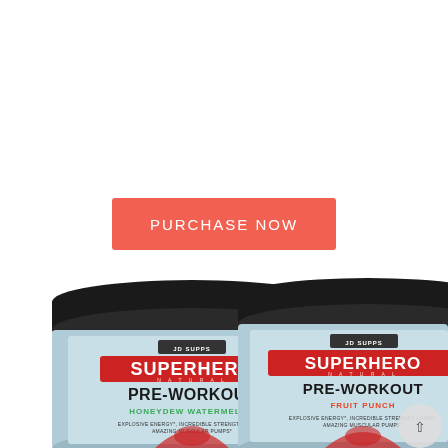[Figure (other): A coral/salmon-colored rectangular button with the text 'PURCHASE NOW' in white capital letters, centered on a white background.]
[Figure (photo): Two cylindrical supplement containers (JD Supps Superhero Natural Pre-Workout) side by side, partially cropped at the bottom. Left container is Honeydew Watermelon flavor with light blue label, right container is Fruit Punch flavor with light blue label. Both have black lids and feature the 'Superhero Natural' logo with superhero graphic. Text reads: PRE-WORKOUT, flavor name in green/orange respectively, EXPLOSIVE ENERGY*, INCREDIBLE STRENGTH GAINS*, AMAZING MUSCULAR PUMPS*.]